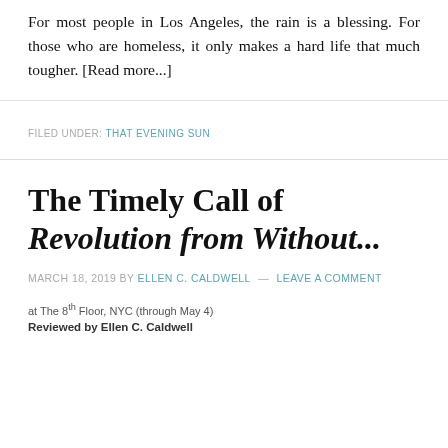For most people in Los Angeles, the rain is a blessing. For those who are homeless, it only makes a hard life that much tougher. [Read more...]
FILED UNDER: THAT EVENING SUN
The Timely Call of Revolution from Without...
MARCH 18, 2019 BY ELLEN C. CALDWELL — LEAVE A COMMENT
at The 8th Floor, NYC (through May 4)
Reviewed by Ellen C. Caldwell